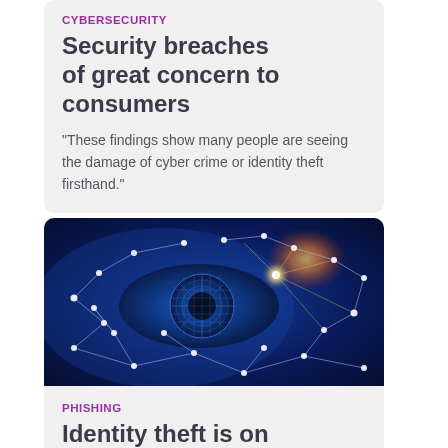CYBERSECURITY
Security breaches of great concern to consumers
“These findings show many people are seeing the damage of cyber crime or identity theft firsthand.”
[Figure (photo): A digital eye with network connection nodes and lines overlaid on a blue/orange background, representing cybersecurity and surveillance themes.]
PHISHING
Identity theft is on the rise... users